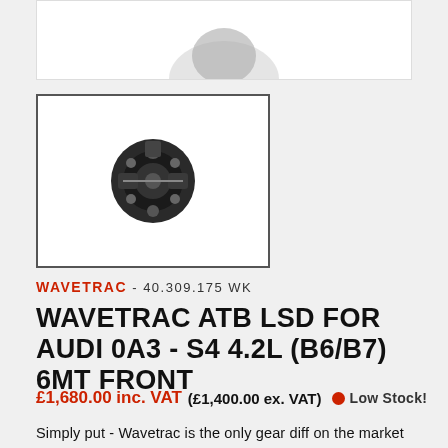[Figure (photo): Partial product hero image at top of page (cropped, white background)]
[Figure (photo): Thumbnail image of Wavetrac ATB LSD differential unit, dark metal component, shown in a white-bordered box]
WAVETRAC - 40.309.175WK
WAVETRAC ATB LSD FOR AUDI 0A3 - S4 4.2L (B6/B7) 6MT FRONT
£1,680.00 inc. VAT  (£1,400.00 ex. VAT)  Low Stock!
Simply put - Wavetrac is the only gear diff on the market that does not lose all drive when one axle is unloaded. Axles become unloaded in aggressive driving, track co...